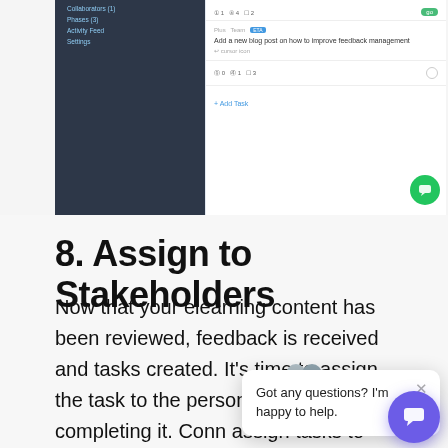[Figure (screenshot): Screenshot of zipBoard application interface showing sidebar navigation and task list with a task about adding a blog post on feedback management]
8. Assign to Stakeholders
Now that your elearning content has been reviewed, feedback is received and tasks created. It's time to assign the task to the person who will be completing it. Conn assign tasks to resp set approx ETA. zipBoard offers adding estimated ETA and real ETA. Using the ti tracking feature of zipBoard you can actu monitor time taken to finish each task and
[Figure (screenshot): Chat popup overlay with users icon, close button, and text 'Got any questions? I'm happy to help.' with a purple chat button in bottom right corner]